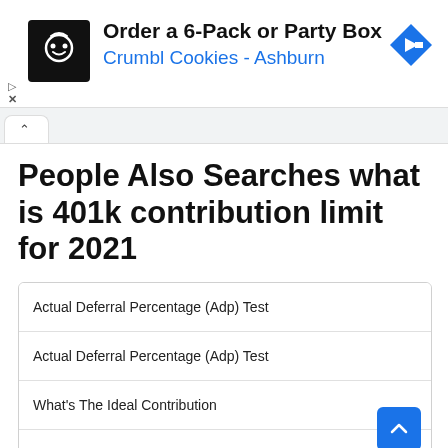[Figure (screenshot): Advertisement banner: Crumbl Cookies - Ashburn, Order a 6-Pack or Party Box, with logo and navigation arrow icon]
People Also Searches what is 401k contribution limit for 2021
Actual Deferral Percentage (Adp) Test
Actual Deferral Percentage (Adp) Test
What's The Ideal Contribution
Does My Employer's 401